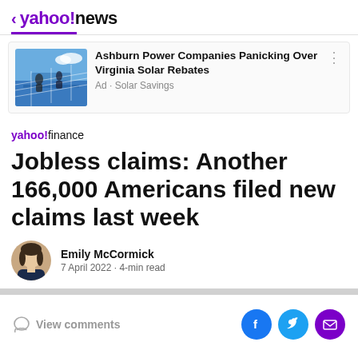< yahoo!news
[Figure (screenshot): Ad image showing workers installing solar panels on a rooftop]
Ashburn Power Companies Panicking Over Virginia Solar Rebates
Ad • Solar Savings
[Figure (logo): yahoo!finance logo]
Jobless claims: Another 166,000 Americans filed new claims last week
[Figure (photo): Author photo of Emily McCormick]
Emily McCormick
7 April 2022 · 4-min read
View comments